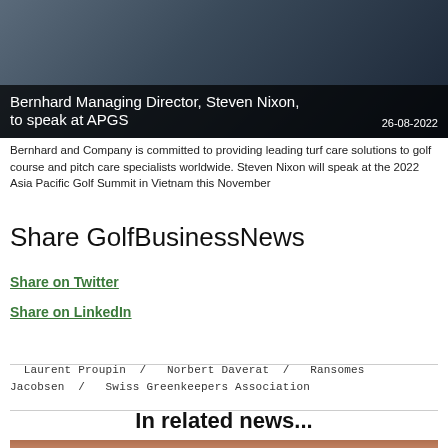[Figure (photo): Man in white shirt speaking at a presentation with blue screen behind him, dark background]
Bernhard Managing Director, Steven Nixon, to speak at APGS
26-08-2022
Bernhard and Company is committed to providing leading turf care solutions to golf course and pitch care specialists worldwide. Steven Nixon will speak at the 2022 Asia Pacific Golf Summit in Vietnam this November
Share GolfBusinessNews
Share on Twitter
Share on LinkedIn
Laurent Proupin  /  Norbert Daverat  /  Ransomes Jacobsen  /  Swiss Greenkeepers Association
In related news...